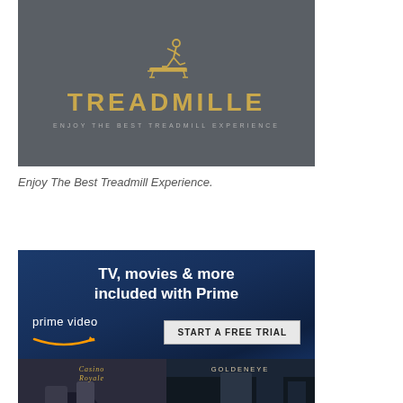[Figure (logo): Treadmille brand logo on dark grey background with gold running figure icon, gold text TREADMILLE, and grey subtitle ENJOY THE BEST TREADMILL EXPERIENCE]
Enjoy The Best Treadmill Experience.
[Figure (illustration): Amazon Prime Video advertisement on dark blue background with text TV, movies & more included with Prime, Prime Video logo with Amazon smile, START A FREE TRIAL button, and movie images showing Casino Royale and GoldenEye]